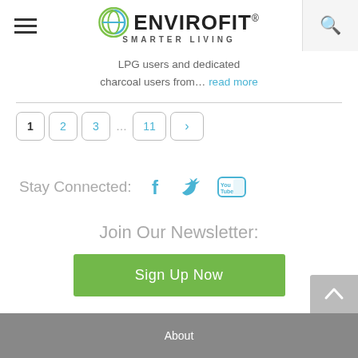[Figure (logo): Envirofit logo with circular icon, brand name ENVIROFIT with registered mark, and tagline SMARTER LIVING]
LPG users and dedicated charcoal users from… read more
Pagination: 1 2 3 ... 11 >
Stay Connected: [Facebook] [Twitter] [YouTube]
Join Our Newsletter:
Sign Up Now
About